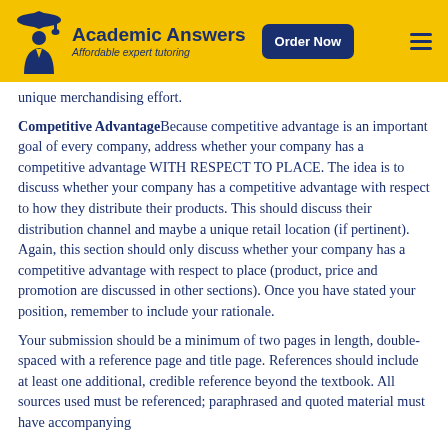Academic Answers — Affordable expert tutoring | Order Now
unique merchandising effort.
Competitive AdvantageBecause competitive advantage is an important goal of every company, address whether your company has a competitive advantage WITH RESPECT TO PLACE. The idea is to discuss whether your company has a competitive advantage with respect to how they distribute their products. This should discuss their distribution channel and maybe a unique retail location (if pertinent). Again, this section should only discuss whether your company has a competitive advantage with respect to place (product, price and promotion are discussed in other sections). Once you have stated your position, remember to include your rationale.
Your submission should be a minimum of two pages in length, double-spaced with a reference page and title page. References should include at least one additional, credible reference beyond the textbook. All sources used must be referenced; paraphrased and quoted material must have accompanying